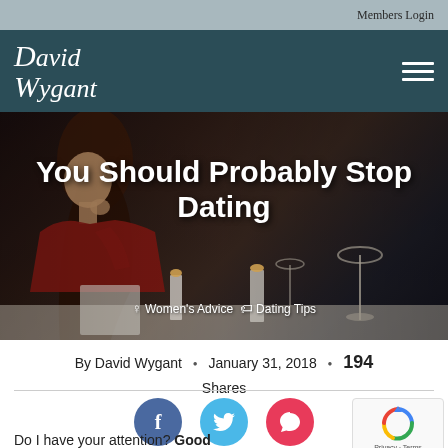Members Login
[Figure (logo): David Wygant cursive logo in white on dark teal background]
[Figure (photo): Hero image: woman in red dress sitting alone at a restaurant table with candles and wine glasses, dark moody atmosphere. Title overlay: You Should Probably Stop Dating. Tags: Women's Advice, Dating Tips]
You Should Probably Stop Dating
Women's Advice   Dating Tips
By David Wygant  •  January 31, 2018  •  194 Shares
[Figure (infographic): Facebook share button (blue circle with f), Twitter share button (light blue circle with bird), Comments button (red circle with speech bubble), reCAPTCHA widget]
Do I have your attention? Good